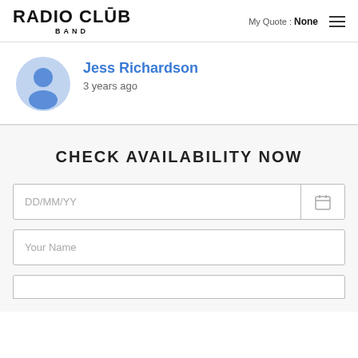RADIO CLUB BAND | My Quote : None
Jess Richardson
3 years ago
CHECK AVAILABILITY NOW
DD/MM/YY
Your Name